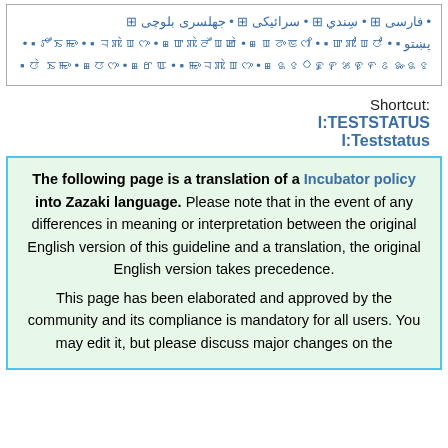• فارسی ⊞ • سِندي ⊞ • سرائیکی ⊞ • جهلسری بلوچی ⊞ • [RTL text lines with script symbols] • پښتو • [additional RTL lines]
Shortcut:
I:TESTSTATUS
I:Teststatus
The following page is a translation of a Incubator policy into Zazaki language. Please note that in the event of any differences in meaning or interpretation between the original English version of this guideline and a translation, the original English version takes precedence. This page has been elaborated and approved by the community and its compliance is mandatory for all users. You may edit it, but please discuss major changes on the